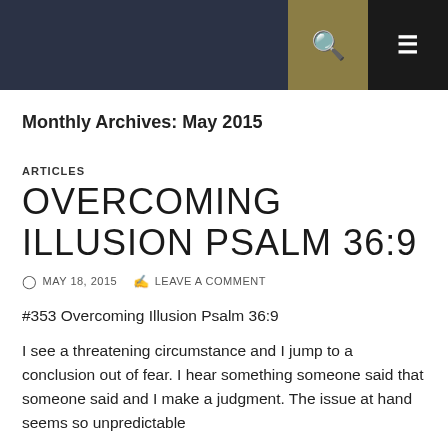Monthly Archives: May 2015
ARTICLES
OVERCOMING ILLUSION PSALM 36:9
MAY 18, 2015   LEAVE A COMMENT
#353  Overcoming Illusion Psalm 36:9
I see a threatening circumstance and I jump to a conclusion out of fear.  I hear something someone said that someone said and I make a judgment.  The issue at hand seems so unpredictable